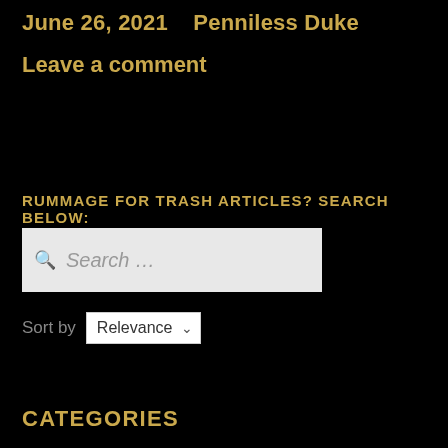June 26, 2021    Penniless Duke
Leave a comment
RUMMAGE FOR TRASH ARTICLES? SEARCH BELOW:
Search ...
Sort by  Relevance
CATEGORIES